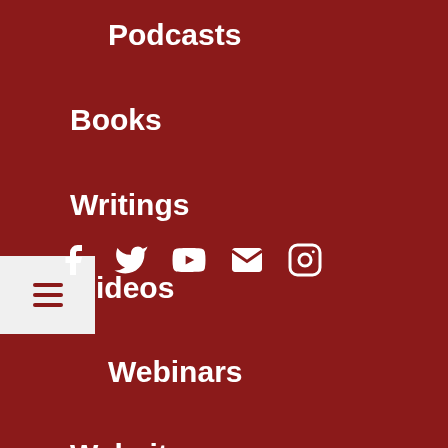Podcasts
Books
Writings
Videos
Webinars
Websites
Blogs
Downloads
[Figure (infographic): Social media icons: Facebook, Twitter, YouTube, Email, Instagram]